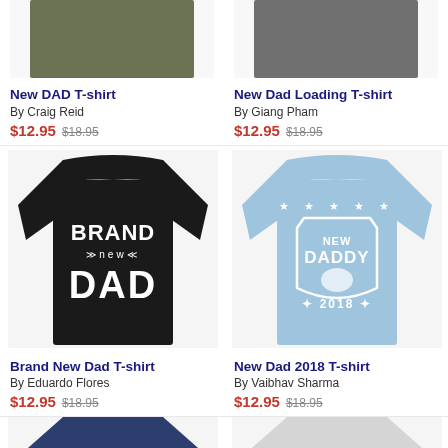[Figure (photo): Partial top of olive/army green t-shirt product image (New DAD T-shirt)]
[Figure (photo): Partial top of dark gray t-shirt product image (New Dad Loading T-shirt)]
New DAD T-shirt
By Craig Reid
$12.95  $18.95
New Dad Loading T-shirt
By Giang Pham
$12.95  $18.95
[Figure (photo): Black t-shirt with white text reading BRAND new DAD]
[Figure (photo): Light blue t-shirt with white badge design reading NEW DADDY 2018 with stars]
Brand New Dad T-shirt
By Eduardo Flores
$12.95  $18.95
New Dad 2018 T-shirt
By Vaibhav Sharma
$12.95  $18.95
[Figure (photo): Partial top of navy blue t-shirt]
[Figure (photo): Partial top of light gray t-shirt]